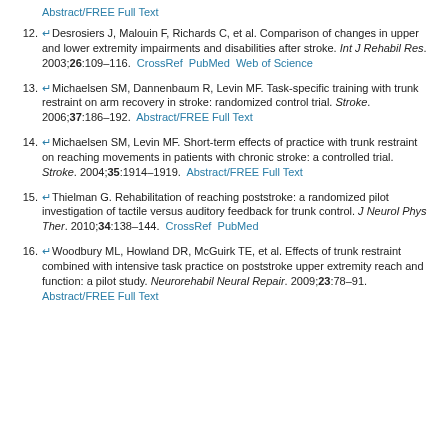Abstract/FREE Full Text (link at top)
12. Desrosiers J, Malouin F, Richards C, et al. Comparison of changes in upper and lower extremity impairments and disabilities after stroke. Int J Rehabil Res. 2003;26:109–116. CrossRef PubMed Web of Science
13. Michaelsen SM, Dannenbaum R, Levin MF. Task-specific training with trunk restraint on arm recovery in stroke: randomized control trial. Stroke. 2006;37:186–192. Abstract/FREE Full Text
14. Michaelsen SM, Levin MF. Short-term effects of practice with trunk restraint on reaching movements in patients with chronic stroke: a controlled trial. Stroke. 2004;35:1914–1919. Abstract/FREE Full Text
15. Thielman G. Rehabilitation of reaching poststroke: a randomized pilot investigation of tactile versus auditory feedback for trunk control. J Neurol Phys Ther. 2010;34:138–144. CrossRef PubMed
16. Woodbury ML, Howland DR, McGuirk TE, et al. Effects of trunk restraint combined with intensive task practice on poststroke upper extremity reach and function: a pilot study. Neurorehabil Neural Repair. 2009;23:78–91. Abstract/FREE Full Text